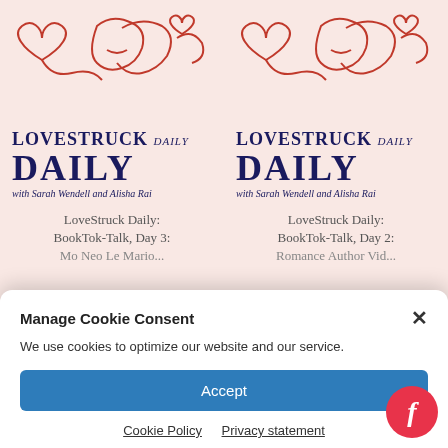[Figure (screenshot): LoveStruck Daily podcast logo with line art of faces and hearts, shown twice side by side. Left card: 'LoveStruck Daily: BookTok-Talk, Day 3:'. Right card: 'LoveStruck Daily: BookTok-Talk, Day 2:'.]
Manage Cookie Consent
We use cookies to optimize our website and our service.
Accept
Cookie Policy   Privacy statement